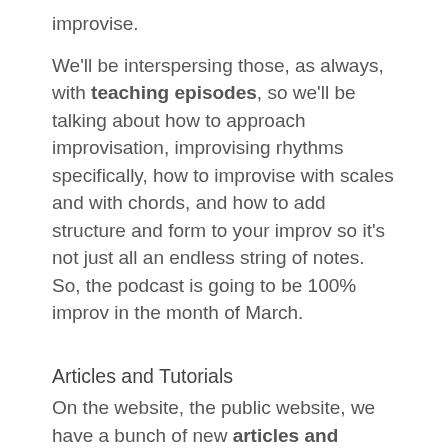improvise.
We'll be interspersing those, as always, with teaching episodes, so we'll be talking about how to approach improvisation, improvising rhythms specifically, how to improvise with scales and with chords, and how to add structure and form to your improv so it's not just all an endless string of notes. So, the podcast is going to be 100% improv in the month of March.
Articles and Tutorials
On the website, the public website, we have a bunch of new articles and tutorials coming up, including one about how to improvise in the world of classical music, one on the